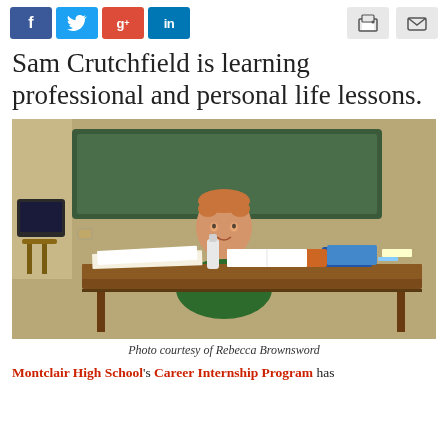[Figure (infographic): Social media sharing buttons: Facebook (blue), Twitter (light blue), Google+ (red), LinkedIn (blue), plus print and email icon buttons]
Sam Crutchfield is learning professional and personal life lessons.
[Figure (photo): A young man in a green jacket sits at a wooden desk in a classroom, with a chalkboard behind him and books/papers on the desk in front of him.]
Photo courtesy of Rebecca Brownsword
Montclair High School's Career Internship Program has